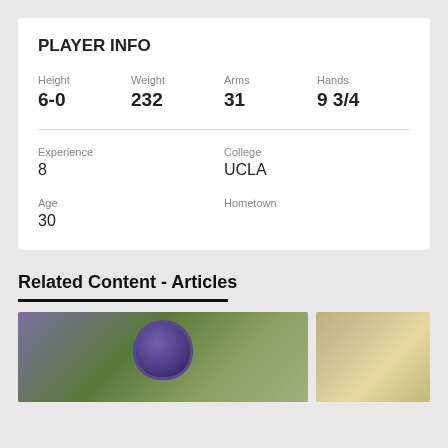PLAYER INFO
| Height | Weight | Arms | Hands |
| --- | --- | --- | --- |
| 6-0 | 232 | 31 | 9 3/4 |
| Experience | College |
| --- | --- |
| 8 | UCLA |
| Age | Hometown |
| --- | --- |
| 30 |  |
Related Content - Articles
[Figure (photo): Football player wearing purple helmet on field]
[Figure (photo): Football player in white and gold uniform]